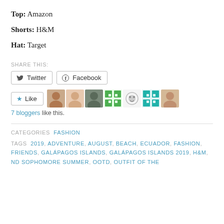Top: Amazon
Shorts: H&M
Hat: Target
SHARE THIS:
[Figure (other): Twitter and Facebook share buttons, Like button with 7 blogger avatars, and '7 bloggers like this.' text]
CATEGORIES  FASHION
TAGS  2019, ADVENTURE, AUGUST, BEACH, ECUADOR, FASHION, FRIENDS, GALÁPAGOS ISLANDS, GALÁPAGOS ISLANDS 2019, H&M, ND SOPHOMORE SUMMER, OOTD, OUTFIT OF THE